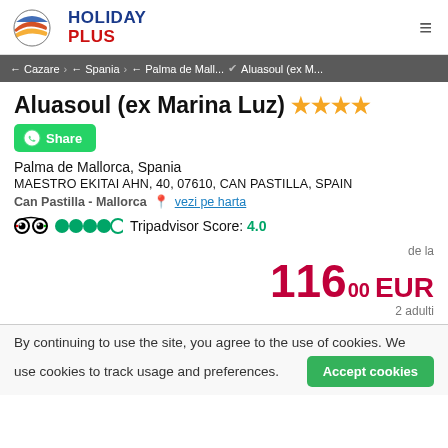Holiday Plus logo and navigation
← Cazare > ← Spania > ← Palma de Mall... ✔ Aluasoul (ex M...
Aluasoul (ex Marina Luz) ★★★★
Share
Palma de Mallorca, Spania
MAESTRO EKITAI AHN, 40, 07610, CAN PASTILLA, SPAIN
Can Pastilla - Mallorca  vezi pe harta
Tripadvisor Score: 4.0
de la 116.00 EUR 2 adulti
By continuing to use the site, you agree to the use of cookies. We use cookies to track usage and preferences.
Accept cookies